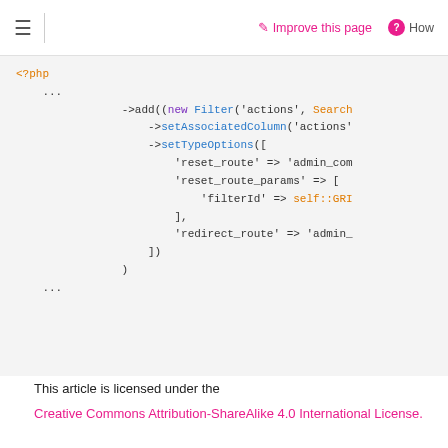≡  | ✏ Improve this page  ? How
[Figure (screenshot): PHP code snippet showing ->add((new Filter('actions', Search... ->setAssociatedColumn('actions'... ->setTypeOptions([ 'reset_route' => 'admin_com... 'reset_route_params' => [ 'filterId' => self::GRI... ], 'redirect_route' => 'admin_... ]) )]
This article is licensed under the
Creative Commons Attribution-ShareAlike 4.0 International License.